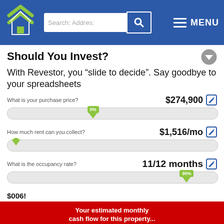[Figure (screenshot): Navigation bar with Revestor logo, search box, and MENU button on blue background]
Should You Invest?
With Revestor, you “slide to decide”. Say goodbye to your spreadsheets
What is your purchase price?  $274,900 [slider at ~42%, thumb label 0%]
How much rent can you collect?  $1,516/mo [slider at far left, thumb at left]
What is the occupancy rate?  11/12 months [slider at 90%, thumb label 90%]
Your estimated monthly cash flow for this property...
$-746
Investment Summary